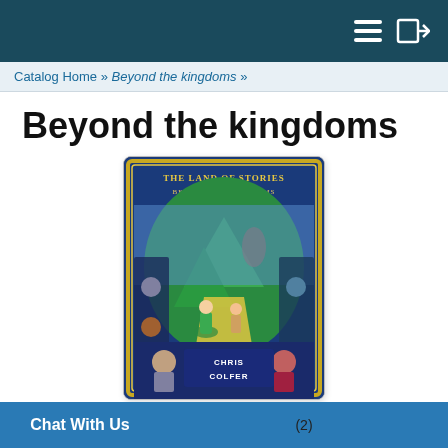Catalog Home » Beyond the kingdoms »
Beyond the kingdoms
[Figure (photo): Book cover of 'The Land of Stories: Beyond the Kingdoms' by Chris Colfer, showing two children in a fantasy landscape with story-book vignettes around the border]
Average Rating
5 star
(2)
Chat With Us